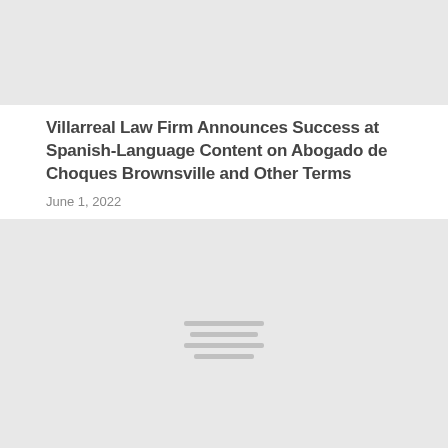[Figure (photo): Top image placeholder with light gray background, partially visible at top of page]
Villarreal Law Firm Announces Success at Spanish-Language Content on Abogado de Choques Brownsville and Other Terms
June 1, 2022
[Figure (photo): Large image placeholder with light gray background and four horizontal lines icon in center]